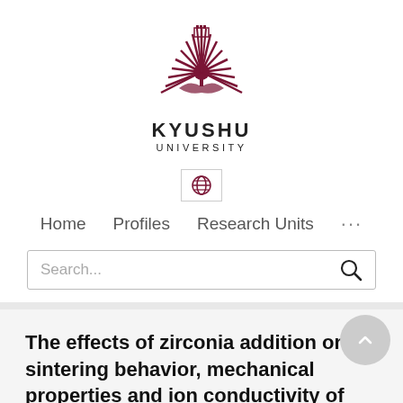[Figure (logo): Kyushu University logo — a stylized phoenix/sunburst emblem in dark red, with text KYUSHU UNIVERSITY below]
[Figure (other): Globe/language selector icon inside a bordered box]
Home   Profiles   Research Units   ...
Search...
The effects of zirconia addition on sintering behavior, mechanical properties and ion conductivity of BICUVOX.1 material